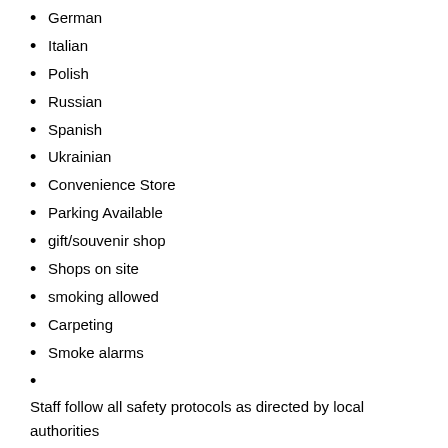German
Italian
Polish
Russian
Spanish
Ukrainian
Convenience Store
Parking Available
gift/souvenir shop
Shops on site
smoking allowed
Carpeting
Smoke alarms
Staff follow all safety protocols as directed by local authorities
First aid kit available
Hand sanitizer in guest accommodation and key areas
Hygiene certification
Sterilizing equipment